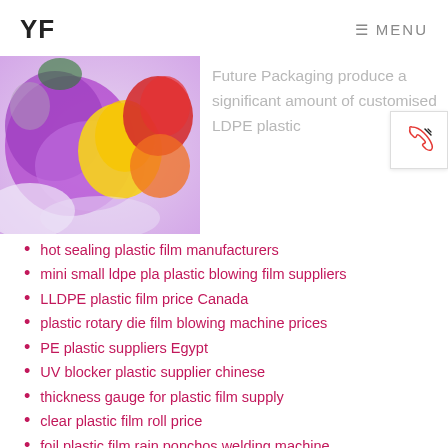YF   ≡ MENU
[Figure (photo): Colorful crumpled plastic bags in purple, yellow, red, orange, white and other colors piled together]
Future Packaging produce a significant amount of customised LDPE plastic
hot sealing plastic film manufacturers
mini small ldpe pla plastic blowing film suppliers
LLDPE plastic film price Canada
plastic rotary die film blowing machine prices
PE plastic suppliers Egypt
UV blocker plastic supplier chinese
thickness gauge for plastic film supply
clear plastic film roll price
foil plastic film rain ponchos welding machine fabrication